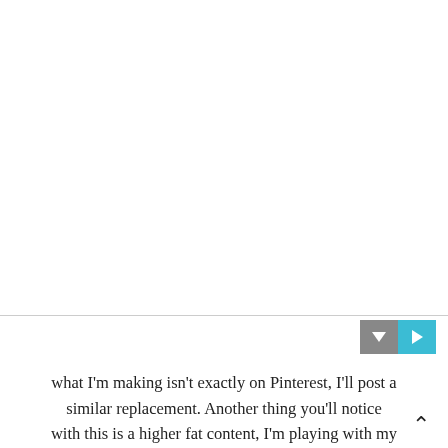[Figure (other): White blank area at the top of the page, representing an image placeholder or empty content area]
what I'm making isn't exactly on Pinterest, I'll post a similar replacement. Another thing you'll notice with this is a higher fat content, I'm playing with my macros. Mainly reducing carbs majorly, moderate protein,...